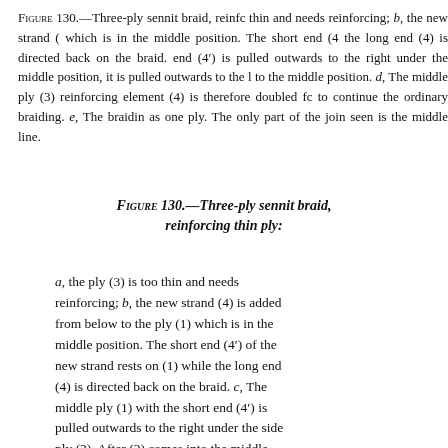Figure 130.—Three-ply sennit braid, reinforcing thin and needs reinforcing; b, the new strand (which is in the middle position. The short end (the long end (4) is directed back on the braid. end (4') is pulled outwards to the right under the middle position, it is pulled outwards to the left to the middle position. d, The middle ply (3) reinforcing element (4) is therefore doubled for to continue the ordinary braiding. e, The braiding as one ply. The only part of the join seen is the middle line.
Figure 130.—Three-ply sennit braid, reinforcing thin ply:
a, the ply (3) is too thin and needs reinforcing; b, the new strand (4) is added from below to the ply (1) which is in the middle position. The short end (4') of the new strand rests on (1) while the long end (4) is directed back on the braid. c, The middle ply (1) with the short end (4') is pulled outwards to the right under the side ply (2). After (2) comes into the middle position, it is pulled outwards to the left under the side ply (3) which comes to the